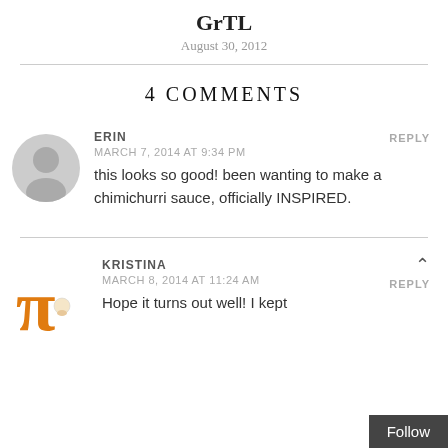GrTL
August 30, 2012
4 COMMENTS
ERIN
MARCH 7, 2014 AT 9:34 PM
this looks so good! been wanting to make a chimichurri sauce, officially INSPIRED.
REPLY
KRISTINA
MARCH 8, 2014 AT 11:24 AM
Hope it turns out well! I kept
REPLY